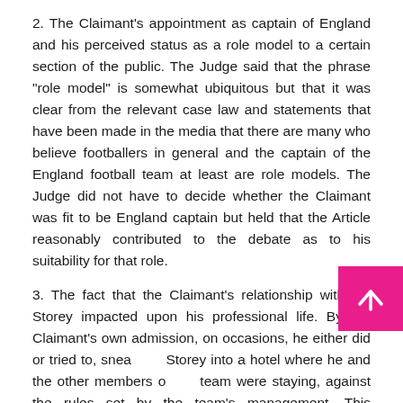2. The Claimant's appointment as captain of England and his perceived status as a role model to a certain section of the public. The Judge said that the phrase "role model" is somewhat ubiquitous but that it was clear from the relevant case law and statements that have been made in the media that there are many who believe footballers in general and the captain of the England football team at least are role models. The Judge did not have to decide whether the Claimant was fit to be England captain but held that the Article reasonably contributed to the debate as to his suitability for that role.
3. The fact that the Claimant's relationship with Ms Storey impacted upon his professional life. By the Claimant's own admission, on occasions, he either did or tried to, snea[k Ms] Storey into a hotel where he and the other members o[f the] team were staying, against the rules set by the team's management. This unprofessional conduct could